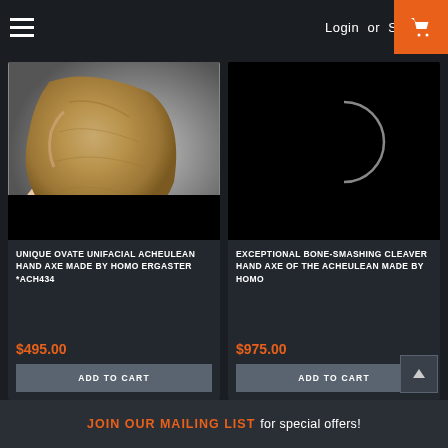Login or Sign Up
[Figure (photo): Hand holding a large tan/brown stone Acheulean hand axe against a light background]
UNIQUE OVATE UNIFACIAL ACHEULEAN HAND AXE MADE BY HOMO ERGASTER *ACH434
$495.00
ADD TO CART
[Figure (photo): Black background with a faint crescent/curved line shape — loading image or dark artifact photo]
EXCEPTIONAL BONE-SMASHING CLEAVER HAND AXE OF THE ACHEULEAN MADE BY HOMO
$975.00
ADD TO CART
JOIN OUR MAILING LIST for special offers!